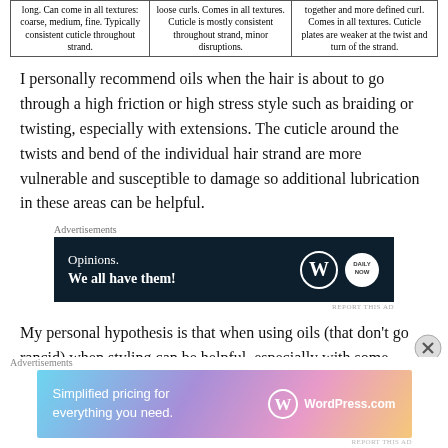|  |  |  |
| --- | --- | --- |
| long. Can come in all textures: coarse, medium, fine. Typically consistent cuticle throughout strand. | loose curls. Comes in all textures. Cuticle is mostly consistent throughout strand, minor disruptions. | together and more defined curl. Comes in all textures. Cuticle plates are weaker at the twist and turn of the strand. |
I personally recommend oils when the hair is about to go through a high friction or high stress style such as braiding or twisting, especially with extensions. The cuticle around the twists and bend of the individual hair strand are more vulnerable and susceptible to damage so additional lubrication in these areas can be helpful.
[Figure (other): Advertisement banner: dark navy background with text 'Opinions. We all have them!' and WordPress and Daily Now logos on the right.]
My personal hypothesis is that when using oils (that don't go rancid) when styling can be helpful, especially with some braids and some
[Figure (other): Advertisement banner: gradient purple/pink/orange background with text 'Simplified pricing for everything you need.' and WordPress.com logo on the right.]